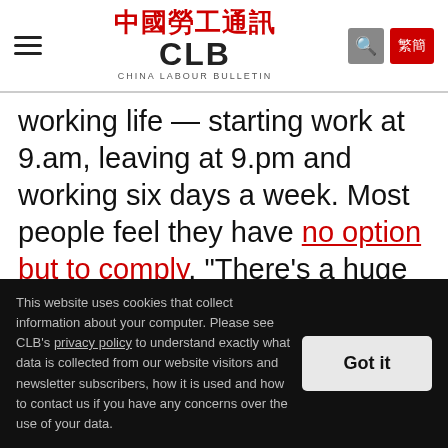CLB - China Labour Bulletin
working life — starting work at 9.am, leaving at 9.pm and working six days a week. Most people feel they have no option but to comply. “There’s a huge number of candidates who can replace anyone in this field,” said a product manager in Shenzhen who used to work in the gaming industry. As a result, he said, “no one will bother to take any action against their employer or file a complaint. You just don’t want to cause any
This website uses cookies that collect information about your computer. Please see CLB’s privacy policy to understand exactly what data is collected from our website visitors and newsletter subscribers, how it is used and how to contact us if you have any concerns over the use of your data.